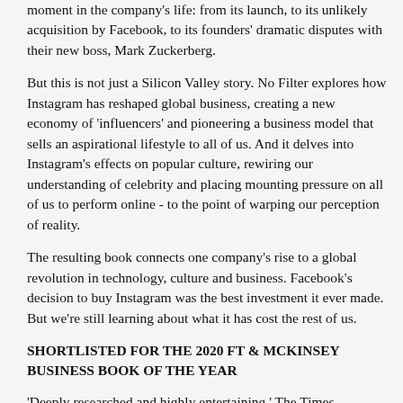moment in the company's life: from its launch, to its unlikely acquisition by Facebook, to its founders' dramatic disputes with their new boss, Mark Zuckerberg.
But this is not just a Silicon Valley story. No Filter explores how Instagram has reshaped global business, creating a new economy of 'influencers' and pioneering a business model that sells an aspirational lifestyle to all of us. And it delves into Instagram's effects on popular culture, rewiring our understanding of celebrity and placing mounting pressure on all of us to perform online - to the point of warping our perception of reality.
The resulting book connects one company's rise to a global revolution in technology, culture and business. Facebook's decision to buy Instagram was the best investment it ever made. But we're still learning about what it has cost the rest of us.
SHORTLISTED FOR THE 2020 FT & MCKINSEY BUSINESS BOOK OF THE YEAR
'Deeply researched and highly entertaining.' The Times
'Vivid reporting and electric story-telling.' Ashlee Vance, author of Elon Musk
'Sharply and admiringly.' New York Times